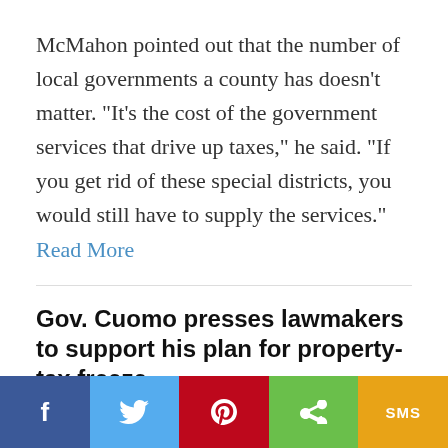McMahon pointed out that the number of local governments a county has doesn't matter. "It's the cost of the government services that drive up taxes," he said. "If you get rid of these special districts, you would still have to supply the services." Read More
Gov. Cuomo presses lawmakers to support his plan for property-tax freeze
Gannett News Service
March 18, 2014
Media Coverage